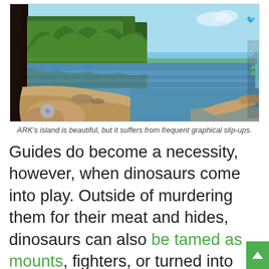[Figure (screenshot): In-game screenshot from ARK: Survival Evolved showing a first-person view of a beach shoreline with trees, calm reflective water, and a clear blue sky. HUD elements visible on the right edge.]
ARK's island is beautiful, but it suffers from frequent graphical slip-ups.
Guides do become a necessity, however, when dinosaurs come into play. Outside of murdering them for their meat and hides, dinosaurs can also be tamed as mounts, fighters, or turned into Tauntaun-style shelters. This being one of the game's main draws, I was excited to get to taming some pesky raptors, but there's nothing in the game itself to explain how you go about doing this. There are some fairly simple, concise